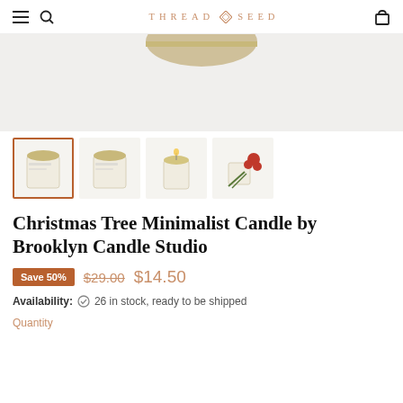THREAD & SEED
[Figure (photo): Main product photo area showing top of a white candle jar with gold lid on a white/grey background, with 'Click to expand' button]
[Figure (photo): Four product thumbnail images: candle with gold lid (active/selected), candle from side, lit candle, candle with holiday berries and greenery]
Christmas Tree Minimalist Candle by Brooklyn Candle Studio
Save 50%  $29.00  $14.50
Availability:  26 in stock, ready to be shipped
Quantity